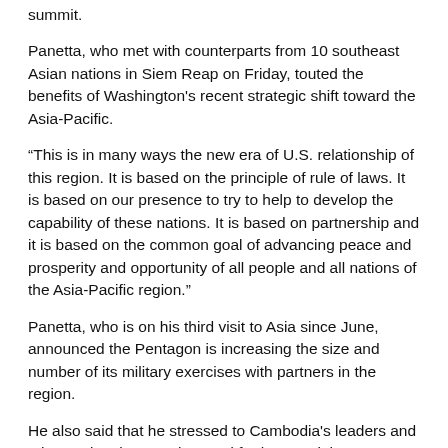summit.
Panetta, who met with counterparts from 10 southeast Asian nations in Siem Reap on Friday, touted the benefits of Washington's recent strategic shift toward the Asia-Pacific.
“This is in many ways the new era of U.S. relationship of this region. It is based on the principle of rule of laws. It is based on our presence to try to help to develop the capability of these nations. It is based on partnership and it is based on the common goal of advancing peace and prosperity and opportunity of all people and all nations of the Asia-Pacific region.”
Panetta, who is on his third visit to Asia since June, announced the Pentagon is increasing the size and number of its military exercises with partners in the region.
He also said that he stressed to Cambodia's leaders and other regional actors the need for human rights, respect for the rule of law, and a more complete political system.